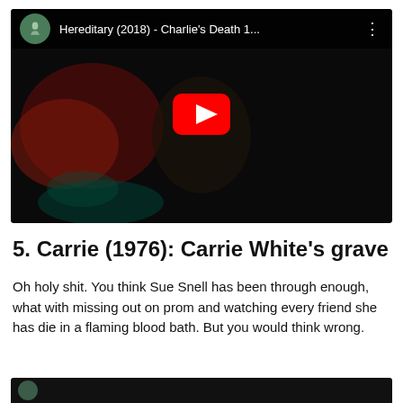[Figure (screenshot): YouTube video thumbnail for 'Hereditary (2018) - Charlie's Death 1...' showing a dark scene with a child's face and a red illuminated background, with a YouTube play button overlay and channel icon]
5. Carrie (1976): Carrie White's grave
Oh holy shit. You think Sue Snell has been through enough, what with missing out on prom and watching every friend she has die in a flaming blood bath. But you would think wrong.
[Figure (screenshot): Partial view of another YouTube video thumbnail at the bottom of the page, dark background with a circular channel icon]